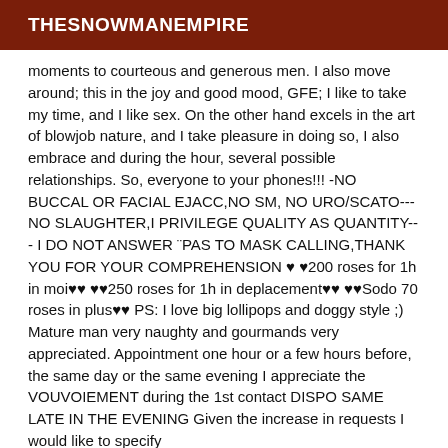THESNOWMANEMPIRE
moments to courteous and generous men. I also move around; this in the joy and good mood, GFE; I like to take my time, and I like sex. On the other hand excels in the art of blowjob nature, and I take pleasure in doing so, I also embrace and during the hour, several possible relationships. So, everyone to your phones!!! -NO BUCCAL OR FACIAL EJACC,NO SM, NO URO/SCATO---NO SLAUGHTER,I PRIVILEGE QUALITY AS QUANTITY--- I DO NOT ANSWER ¨PAS TO MASK CALLING,THANK YOU FOR YOUR COMPREHENSION ♥ ♥200 roses for 1h in moi♥♥ ♥♥250 roses for 1h in deplacement♥♥ ♥♥Sodo 70 roses in plus♥♥ PS: I love big lollipops and doggy style ;) Mature man very naughty and gourmands very appreciated. Appointment one hour or a few hours before, the same day or the same evening I appreciate the VOUVOIEMENT during the 1st contact DISPO SAME LATE IN THE EVENING Given the increase in requests I would like to specify